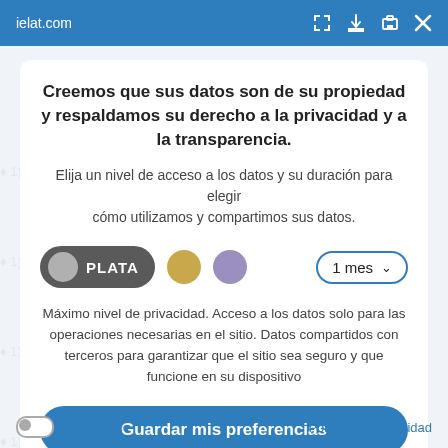ielat.com
Creemos que sus datos son de su propiedad y respaldamos su derecho a la privacidad y a la transparencia.
Elija un nivel de acceso a los datos y su duración para elegir cómo utilizamos y compartimos sus datos.
[Figure (infographic): Privacy level selector with PLATA (silver) toggle button selected, gold circle, purple circle, and a dropdown showing '1 mes']
Máximo nivel de privacidad. Acceso a los datos solo para las operaciones necesarias en el sitio. Datos compartidos con terceros para garantizar que el sitio sea seguro y que funcione en su dispositivo
Guardar mis preferencias
Personalice    Política de privacidad